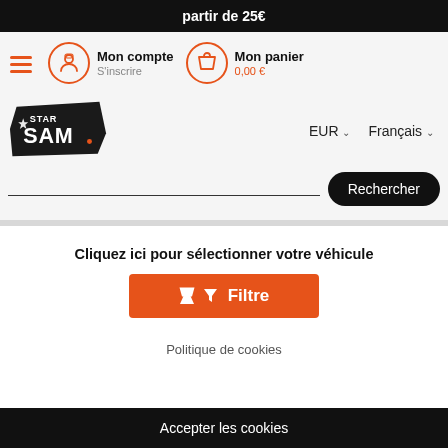partir de 25€
Mon compte S'inscrire
Mon panier 0,00 €
[Figure (logo): Star Sam logo — black angular badge with star and bold SAM text in white]
EUR ∨   Français ∨
Rechercher
Cliquez ici pour sélectionner votre véhicule
Filtre
Politique de cookies
Accepter les cookies